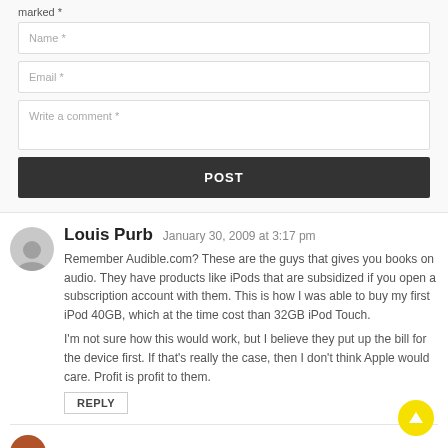marked *
Name *
Email *
Write a comment *
POST
Louis Purb   January 30, 2009 at 3:17 pm
Remember Audible.com? These are the guys that gives you books on audio. They have products like iPods that are subsidized if you open a subscription account with them. This is how I was able to buy my first iPod 40GB, which at the time cost than 32GB iPod Touch.
I'm not sure how this would work, but I believe they put up the bill for the device first. If that's really the case, then I don't think Apple would care. Profit is profit to them.
REPLY